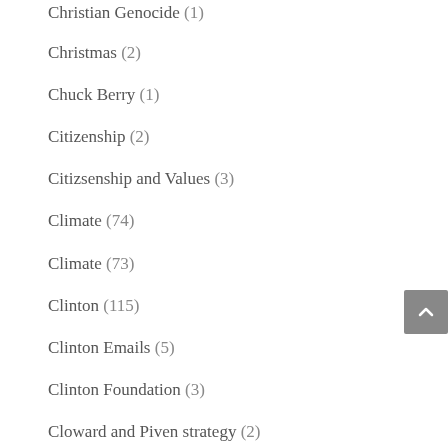Christian Genocide (1)
Christmas (2)
Chuck Berry (1)
Citizenship (2)
Citizsenship and Values (3)
Climate (74)
Climate (73)
Clinton (115)
Clinton Emails (5)
Clinton Foundation (3)
Cloward and Piven strategy (2)
Co2 (4)